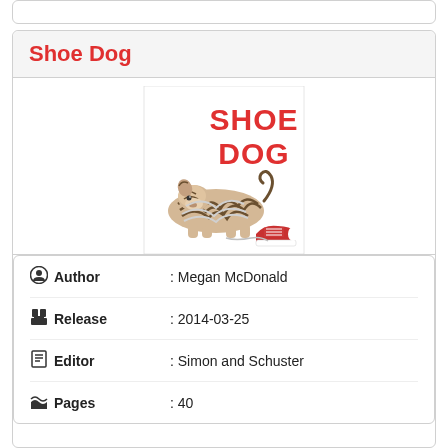Shoe Dog
[Figure (illustration): Book cover of 'Shoe Dog' by Megan McDonald showing a illustrated dog tangled in shoelaces with a red sneaker, and the title 'SHOE DOG' in large red letters]
| Field | Value |
| --- | --- |
| Author | Megan McDonald |
| Release | 2014-03-25 |
| Editor | Simon and Schuster |
| Pages | 40 |